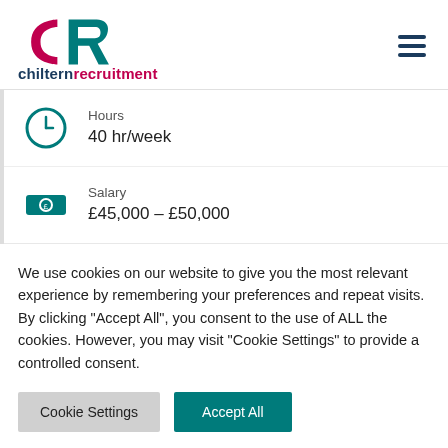[Figure (logo): Chiltern Recruitment logo with CR icon in teal and red, and wordmark 'chiltern' in dark blue and 'recruitment' in red]
Hours
40 hr/week
Salary
£45,000 – £50,000
We use cookies on our website to give you the most relevant experience by remembering your preferences and repeat visits. By clicking "Accept All", you consent to the use of ALL the cookies. However, you may visit "Cookie Settings" to provide a controlled consent.
Cookie Settings
Accept All